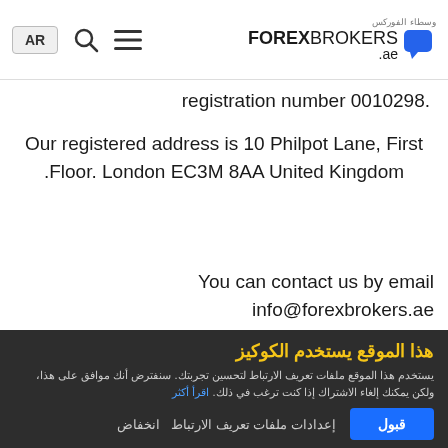AR | [search] [menu] | وسطاء الفوركس FOREXBROKERS .ae
.registration number 0010298
Our registered address is 10 Philpot Lane, First Floor. London EC3M 8AA United Kingdom.
You can contact us by email info@forexbrokers.ae
Changes to those terms of use (20)
هذا الموقع يستخدم الكوكيز
يستخدم هذا الموقع ملفات تعريف الارتباط لتحسين تجربتك. سنفترض أنك موافق على هذا، ولكن يمكنك إلغاء الاشتراك إذا كنت ترغب في ذلك. اقرأ أكثر
These Terms of Use may change from time to time and therefore you should review them regularly. We will, of course, notify you of any
قبول
إعدادات ملفات تعريف الارتباط انخفاض